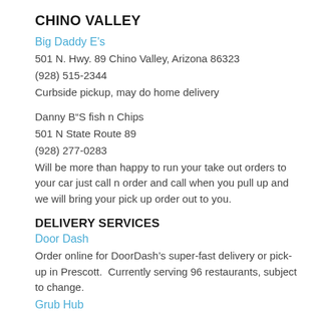CHINO VALLEY
Big Daddy E's
501 N. Hwy. 89 Chino Valley, Arizona 86323
(928) 515-2344
Curbside pickup, may do home delivery
Danny B"S fish n Chips
501 N State Route 89
(928) 277-0283
Will be more than happy to run your take out orders to your car just call n order and call when you pull up and we will bring your pick up order out to you.
DELIVERY SERVICES
Door Dash
Order online for DoorDash’s super-fast delivery or pick-up in Prescott.  Currently serving 96 restaurants, subject to change.
Grub Hub